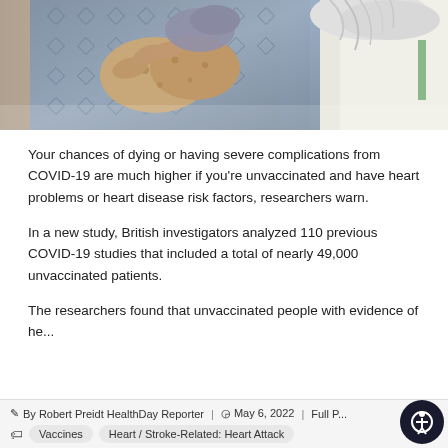[Figure (photo): Close-up photo of an elderly patient in a hospital gown with hands crossed over chest, with a healthcare worker in white coat visible in background]
Your chances of dying or having severe complications from COVID-19 are much higher if you're unvaccinated and have heart problems or heart disease risk factors, researchers warn.
In a new study, British investigators analyzed 110 previous COVID-19 studies that included a total of nearly 49,000 unvaccinated patients.
The researchers found that unvaccinated people with evidence of he...
By Robert Preidt HealthDay Reporter | May 6, 2022 | Full P... | Vaccines | Heart / Stroke-Related: Heart Attack